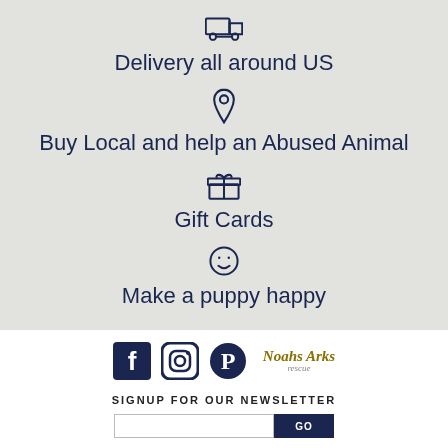Delivery all around US
Buy Local and help an Abused Animal
Gift Cards
Make a puppy happy
[Figure (logo): Social media icons: Facebook, Instagram, Pinterest, and Noah's Arks Rescue logo]
SIGNUP FOR OUR NEWSLETTER